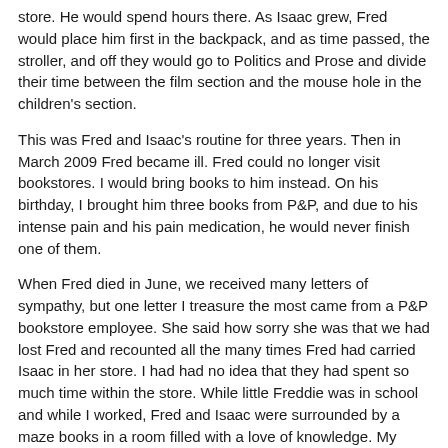store. He would spend hours there. As Isaac grew, Fred would place him first in the backpack, and as time passed, the stroller, and off they would go to Politics and Prose and divide their time between the film section and the mouse hole in the children's section.
This was Fred and Isaac's routine for three years. Then in March 2009 Fred became ill. Fred could no longer visit bookstores. I would bring books to him instead. On his birthday, I brought him three books from P&P, and due to his intense pain and his pain medication, he would never finish one of them.
When Fred died in June, we received many letters of sympathy, but one letter I treasure the most came from a P&P bookstore employee. She said how sorry she was that we had lost Fred and recounted all the many times Fred had carried Isaac in her store. I had had no idea that they had spent so much time within the store. While little Freddie was in school and while I worked, Fred and Isaac were surrounded by a maze books in a room filled with a love of knowledge. My eyes filled with tears as read of this vision of a father and son.